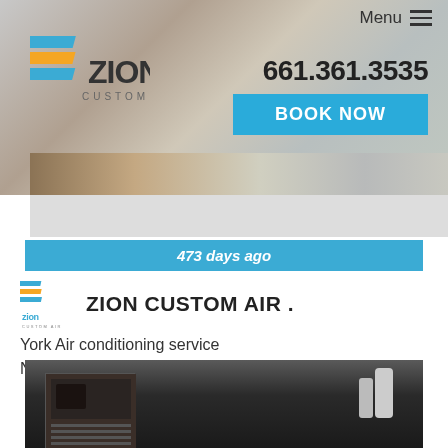[Figure (screenshot): Zion Custom Air website header screenshot showing logo, phone number 661.361.3535, Menu button, BOOK NOW button, and background image of ground/rocks]
Menu
661.361.3535
BOOK NOW
473 days ago
ZION CUSTOM AIR .
York Air conditioning service
Near E Ave R, Palmdale, CA 93550
[Figure (photo): Photo of HVAC equipment/furnace unit installed in a utility space]